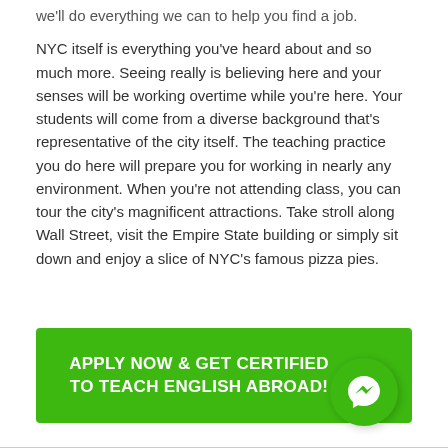we'll do everything we can to help you find a job.
NYC itself is everything you've heard about and so much more. Seeing really is believing here and your senses will be working overtime while you're here. Your students will come from a diverse background that's representative of the city itself. The teaching practice you do here will prepare you for working in nearly any environment. When you're not attending class, you can tour the city's magnificent attractions. Take stroll along Wall Street, visit the Empire State building or simply sit down and enjoy a slice of NYC's famous pizza pies.
APPLY NOW & GET CERTIFIED TO TEACH ENGLISH ABROAD!
[Figure (logo): Green circular messenger/chat bubble icon with a lightning bolt checkmark symbol in white]